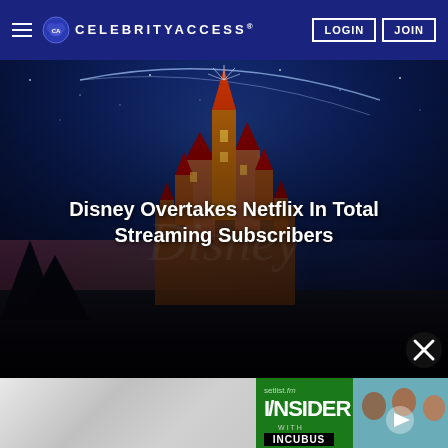CELEBRITYACCESS. LOGIN JOIN
[Figure (photo): Disney castle at night with fireworks and colorful sky]
Disney Overtakes Netflix In Total Streaming Subscribers
[Figure (screenshot): setlist.fm Insider with Incubus video thumbnail with play button and three people on a couch]